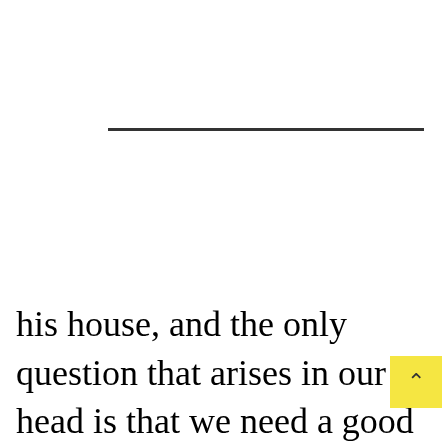[Figure (other): Horizontal divider line]
his house, and the only question that arises in our head is that we need a good and qualified plumber to solve these problems. We all know the value of a plumber, is a person who ha...